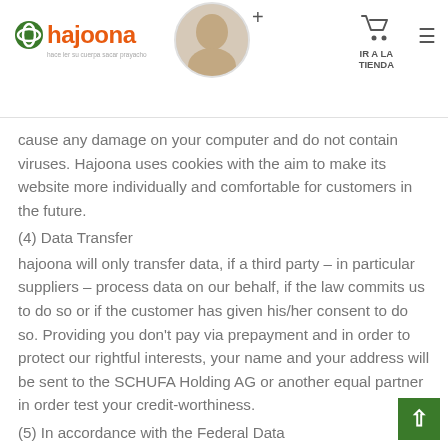hajoona — IR A LA TIENDA
cause any damage on your computer and do not contain viruses. Hajoona uses cookies with the aim to make its website more individually and comfortable for customers in the future.
(4) Data Transfer
hajoona will only transfer data, if a third party – in particular suppliers – process data on our behalf, if the law commits us to do so or if the customer has given his/her consent to do so. Providing you don't pay via prepayment and in order to protect our rightful interests, your name and your address will be sent to the SCHUFA Holding AG or another equal partner in order test your credit-worthiness.
(5) In accordance with the Federal Data